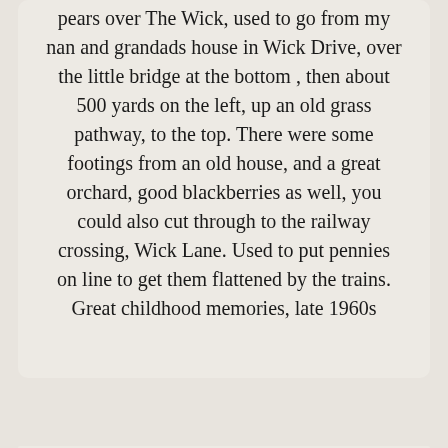pears over The Wick, used to go from my nan and grandads house in Wick Drive, over the little bridge at the bottom , then about 500 yards on the left, up an old grass pathway, to the top. There were some footings from an old house, and a great orchard, good blackberries as well, you could also cut through to the railway crossing, Wick Lane. Used to put pennies on line to get them flattened by the trains.
Great childhood memories, late 1960s
By GARY TOWNSEND (14/01/2021)
My late grandmother (Grace Keeble) had a